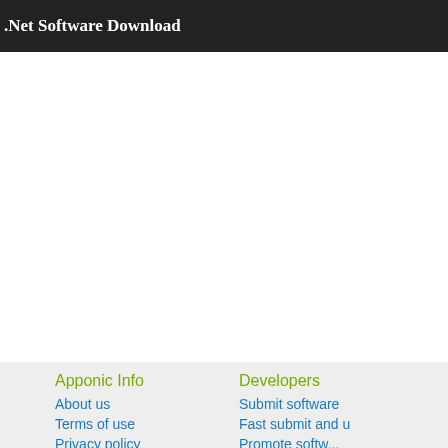.Net Software Download
Apponic Info
Developers
About us
Submit software
Terms of use
Fast submit and u
Privacy policy
Promote softw...